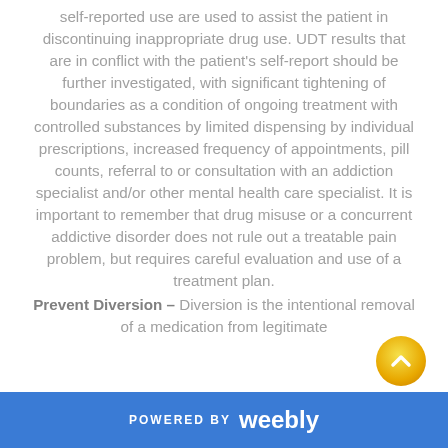self-reported use are used to assist the patient in discontinuing inappropriate drug use. UDT results that are in conflict with the patient's self-report should be further investigated, with significant tightening of boundaries as a condition of ongoing treatment with controlled substances by limited dispensing by individual prescriptions, increased frequency of appointments, pill counts, referral to or consultation with an addiction specialist and/or other mental health care specialist. It is important to remember that drug misuse or a concurrent addictive disorder does not rule out a treatable pain problem, but requires careful evaluation and use of a treatment plan.
Prevent Diversion – Diversion is the intentional removal of a medication from legitimate
POWERED BY weebly